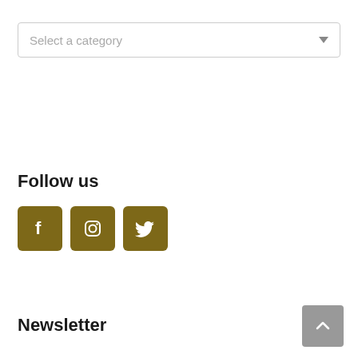[Figure (screenshot): Dropdown select box with placeholder text 'Select a category' and a downward chevron arrow on the right]
Follow us
[Figure (infographic): Three olive/gold colored square icon buttons for Facebook, Instagram, and Twitter social media platforms]
Newsletter
[Figure (other): Gray scroll-to-top button with upward chevron arrow in the bottom right corner]